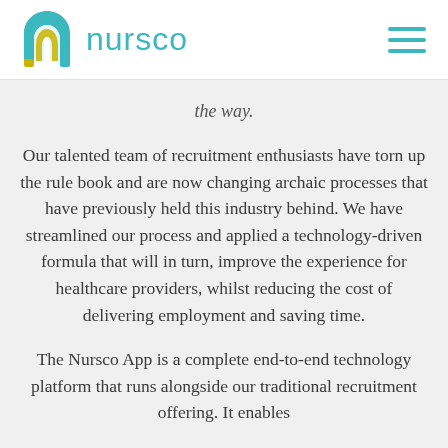[Figure (logo): Nursco logo: stylized arch/horseshoe shape in teal and yellow on the left, 'nursco' text in teal on the right]
the way.
Our talented team of recruitment enthusiasts have torn up the rule book and are now changing archaic processes that have previously held this industry behind. We have streamlined our process and applied a technology-driven formula that will in turn, improve the experience for healthcare providers, whilst reducing the cost of delivering employment and saving time.
The Nursco App is a complete end-to-end technology platform that runs alongside our traditional recruitment offering. It enables